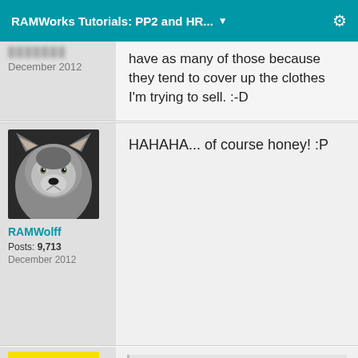RAMWorks Tutorials: PP2 and HR...
have as many of those because they tend to cover up the clothes I'm trying to sell. :-D
RAMWolff
Posts: 9,713
December 2012
HAHAHA... of course honey! :P
RAMWolff said: